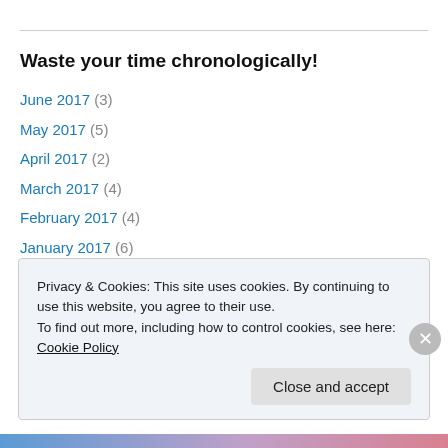Waste your time chronologically!
June 2017 (3)
May 2017 (5)
April 2017 (2)
March 2017 (4)
February 2017 (4)
January 2017 (6)
December 2016 (10)
November 2016 (8)
October 2016 (11)
Privacy & Cookies: This site uses cookies. By continuing to use this website, you agree to their use. To find out more, including how to control cookies, see here: Cookie Policy
Close and accept